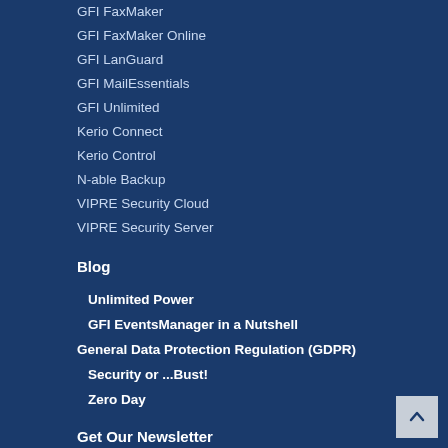GFI FaxMaker
GFI FaxMaker Online
GFI LanGuard
GFI MailEssentials
GFI Unlimited
Kerio Connect
Kerio Control
N-able Backup
VIPRE Security Cloud
VIPRE Security Server
Blog
Unlimited Power
GFI EventsManager in a Nutshell
General Data Protection Regulation (GDPR)
Security or ...Bust!
Zero Day
Get Our Newsletter